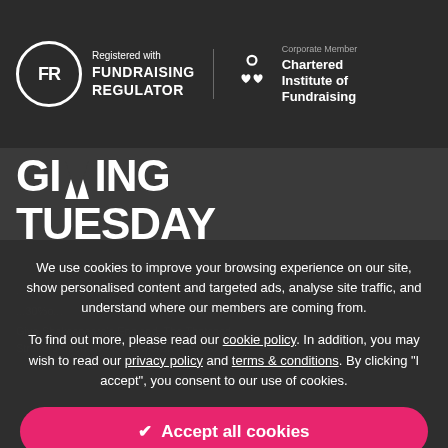[Figure (logo): Fundraising Regulator logo - FR in circle with text 'Registered with FUNDRAISING REGULATOR']
[Figure (logo): Chartered Institute of Fundraising logo - hearts icon with text 'Corporate Member Chartered Institute of Fundraising']
GIVING TUESDAY
We use cookies to improve your browsing experience on our site, show personalised content and targeted ads, analyse site traffic, and understand where our members are coming from.
To find out more, please read our cookie policy. In addition, you may wish to read our privacy policy and terms & conditions. By clicking "I accept", you consent to our use of cookies.
✔ Accept all cookies
⚙ Manage settings